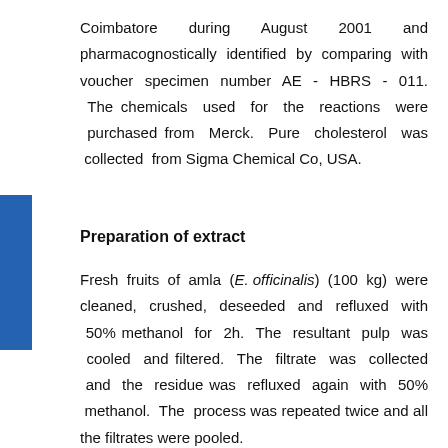Coimbatore during August 2001 and pharmacognostically identified by comparing with voucher specimen number AE - HBRS - 011. The chemicals used for the reactions were purchased from Merck. Pure cholesterol was collected from Sigma Chemical Co, USA.
Preparation of extract
Fresh fruits of amla (E. officinalis) (100 kg) were cleaned, crushed, deseeded and refluxed with 50% methanol for 2h. The resultant pulp was cooled and filtered. The filtrate was collected and the residue was refluxed again with 50% methanol. The process was repeated twice and all the filtrates were pooled.